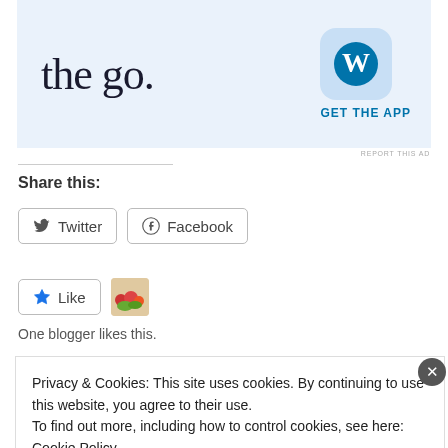[Figure (screenshot): WordPress app advertisement banner with text 'the go.' and WordPress logo icon, with 'GET THE APP' link]
REPORT THIS AD
Share this:
[Figure (screenshot): Twitter share button]
[Figure (screenshot): Facebook share button]
[Figure (screenshot): Like button with star icon and blogger avatar]
One blogger likes this.
Privacy & Cookies: This site uses cookies. By continuing to use this website, you agree to their use.
To find out more, including how to control cookies, see here: Cookie Policy
Close and accept